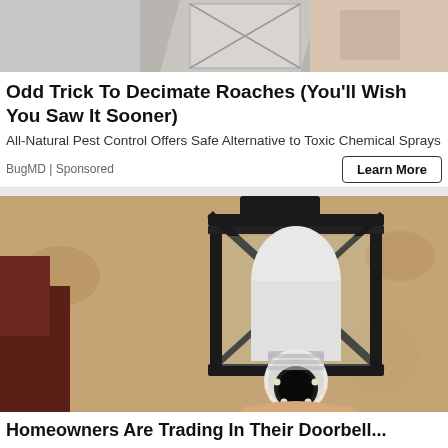[Figure (illustration): Partial illustration of what appears to be geometric shapes or a mouse trap at the top of the page, gray and beige tones.]
Odd Trick To Decimate Roaches (You'll Wish You Saw It Sooner)
All-Natural Pest Control Offers Safe Alternative to Toxic Chemical Sprays
BugMD | Sponsored
Learn More
[Figure (photo): A security camera shaped like a light bulb installed inside a black outdoor wall lantern fixture mounted on a stucco wall. A hand is visible at the bottom holding or installing the device.]
Homeowners Are Trading In Their Doorbell...